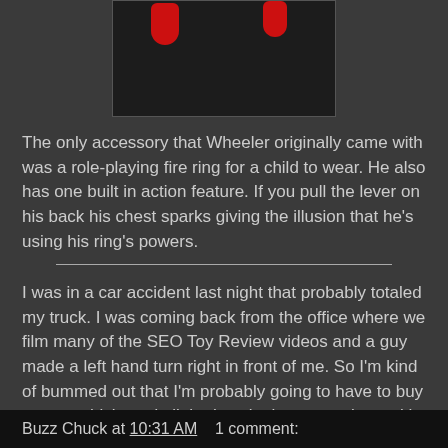[Figure (photo): Close-up photo of red toy parts on a dark background]
The only accessory that Wheeler originally came with was a role-playing fire ring for a child to wear. He also has one built in action feature. If you pull the lever on his back his chest sparks giving the illusion that he's using his ring's powers.
I was in a car accident last night that probably totaled my truck. I was coming back from the office where we film many of the SEO Toy Review videos and a guy made a left hand turn right in front of me. So I'm kind of bummed out that I'm probably going to have to buy a new vehicle and all the hassle that goes along with this right around this time of year. The good news, both myself and the other driver are fine and will be able to enjoy Thanksgiving in a few days.
Buzz Chuck at 10:31 AM   1 comment: